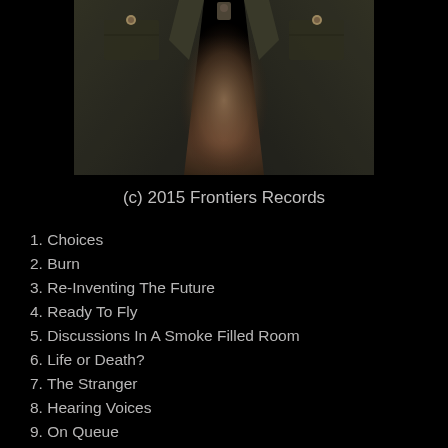[Figure (photo): Album cover artwork showing a person in a military/utility jacket, torso cropped, with a moody dark atmospheric background with warm brownish tones]
(c) 2015 Frontiers Records
1. Choices
2. Burn
3. Re-Inventing The Future
4. Ready To Fly
5. Discussions In A Smoke Filled Room
6. Life or Death?
7. The Stranger
8. Hearing Voices
9. On Queue
10. An Ambush Of Sadness